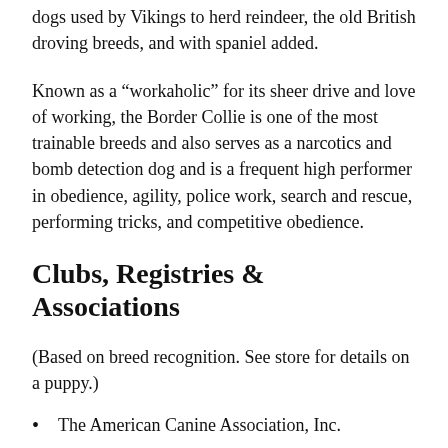dogs used by Vikings to herd reindeer, the old British droving breeds, and with spaniel added.
Known as a “workaholic” for its sheer drive and love of working, the Border Collie is one of the most trainable breeds and also serves as a narcotics and bomb detection dog and is a frequent high performer in obedience, agility, police work, search and rescue, performing tricks, and competitive obedience.
Clubs, Registries & Associations
(Based on breed recognition. See store for details on a puppy.)
The American Canine Association, Inc.
The American Canine Registry